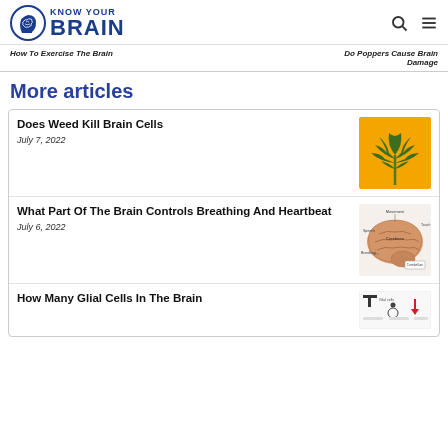KNOW YOUR BRAIN
How To Exercise The Brain
Do Poppers Cause Brain Damage
More articles
Does Weed Kill Brain Cells
July 7, 2022
[Figure (photo): Cannabis leaf on orange/yellow background]
What Part Of The Brain Controls Breathing And Heartbeat
July 6, 2022
[Figure (illustration): Labeled diagram of a human brain showing Movement, Speech, Cerebrum, Breathing, Touch, and Heartbeat regions]
How Many Glial Cells In The Brain
[Figure (infographic): Infographic about glial cells in the brain with diagrams and arrows]